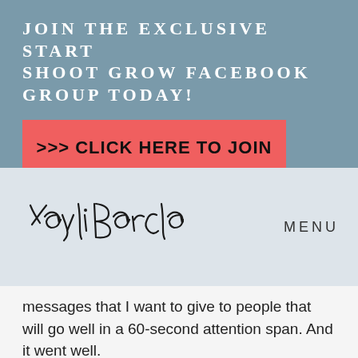JOIN THE EXCLUSIVE START SHOOT GROW FACEBOOK GROUP TODAY!
>>> CLICK HERE TO JOIN
[Figure (illustration): Handwritten cursive signature reading 'Xayli Barday']
MENU
messages that I want to give to people that will go well in a 60-second attention span. And it went well.